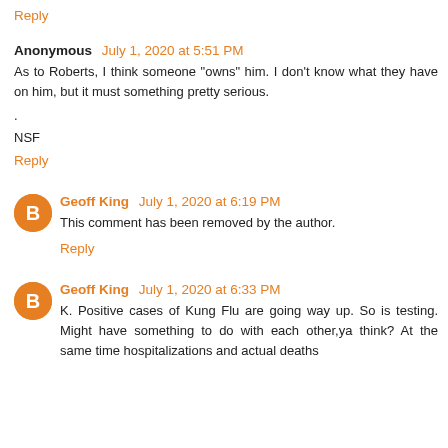Reply
Anonymous July 1, 2020 at 5:51 PM
As to Roberts, I think someone "owns" him. I don't know what they have on him, but it must something pretty serious.
.
NSF
Reply
Geoff King July 1, 2020 at 6:19 PM
This comment has been removed by the author.
Reply
Geoff King July 1, 2020 at 6:33 PM
K. Positive cases of Kung Flu are going way up. So is testing. Might have something to do with each other,ya think? At the same time hospitalizations and actual deaths